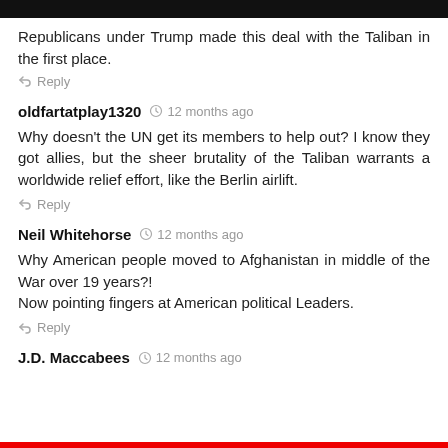Republicans under Trump made this deal with the Taliban in the first place.
Reply
oldfartatplay1320   12 months ago
Why doesn't the UN get its members to help out? I know they got allies, but the sheer brutality of the Taliban warrants a worldwide relief effort, like the Berlin airlift.
Reply
Neil Whitehorse   12 months ago
Why American people moved to Afghanistan in middle of the War over 19 years?!
Now pointing fingers at American political Leaders.
Reply
J.D. Maccabees   12 months ago